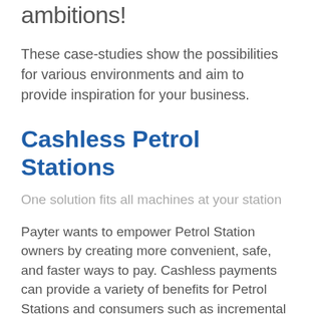ambitions!
These case-studies show the possibilities for various environments and aim to provide inspiration for your business.
Cashless Petrol Stations
One solution fits all machines at your station
Payter wants to empower Petrol Station owners by creating more convenient, safe, and faster ways to pay. Cashless payments can provide a variety of benefits for Petrol Stations and consumers such as incremental revenue, more productive Petrol Stations, and even long-lasting, rewarding relationships with consumers.